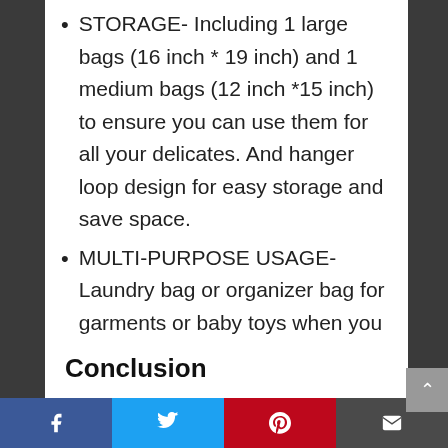STORAGE- Including 1 large bags (16 inch * 19 inch) and 1 medium bags (12 inch *15 inch) to ensure you can use them for all your delicates. And hanger loop design for easy storage and save space.
MULTI-PURPOSE USAGE- Laundry bag or organizer bag for garments or baby toys when you travel around the world.
Conclusion